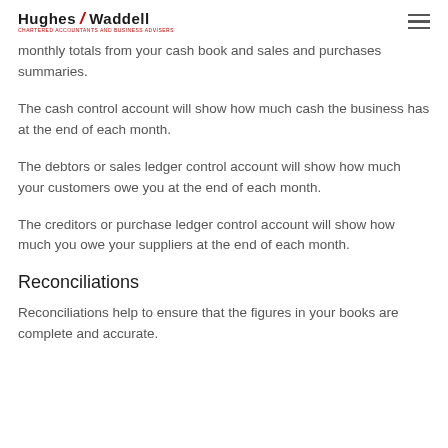Hughes Waddell — CHARTERED ACCOUNTANTS AND BUSINESS ADVISERS
monthly totals from your cash book and sales and purchases summaries.
The cash control account will show how much cash the business has at the end of each month.
The debtors or sales ledger control account will show how much your customers owe you at the end of each month.
The creditors or purchase ledger control account will show how much you owe your suppliers at the end of each month.
Reconciliations
Reconciliations help to ensure that the figures in your books are complete and accurate.